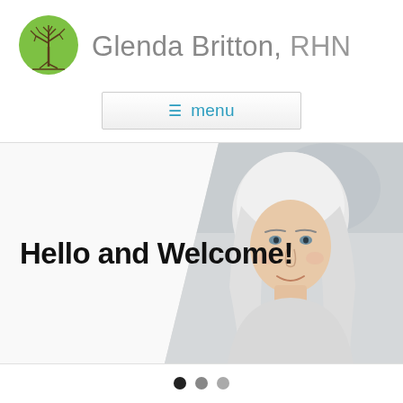[Figure (logo): Green circle tree logo with bare tree silhouette inside]
Glenda Britton, RHN
≡ menu
[Figure (photo): Portrait photo of a smiling older woman with long white/silver hair, shown from shoulders up on a light blurred background]
Hello and Welcome!
[Figure (other): Carousel indicator dots: three dots — one black (active), one medium gray, one light gray]